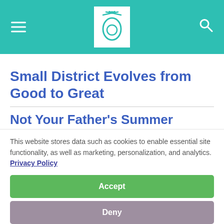Site header with logo, menu icon, and search icon
Small District Evolves from Good to Great
Not Your Father's Summer
This website stores data such as cookies to enable essential site functionality, as well as marketing, personalization, and analytics. Privacy Policy
Accept
Deny